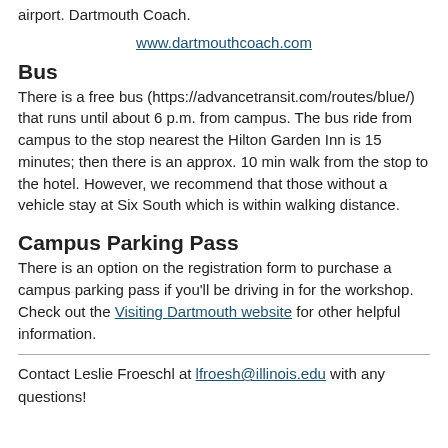airport. Dartmouth Coach.
www.dartmouthcoach.com
Bus
There is a free bus (https://advancetransit.com/routes/blue/) that runs until about 6 p.m. from campus. The bus ride from campus to the stop nearest the Hilton Garden Inn is 15 minutes; then there is an approx. 10 min walk from the stop to the hotel. However, we recommend that those without a vehicle stay at Six South which is within walking distance.
Campus Parking Pass
There is an option on the registration form to purchase a campus parking pass if you'll be driving in for the workshop. Check out the Visiting Dartmouth website for other helpful information.
Contact Leslie Froeschl at lfroesh@illinois.edu with any questions!